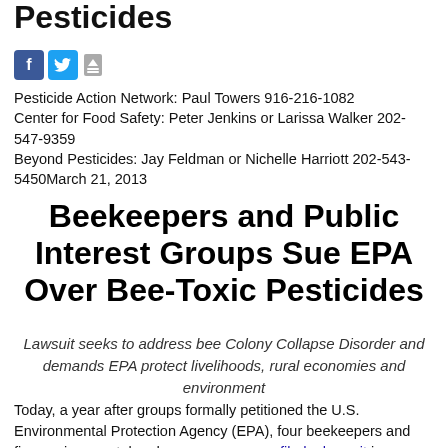Pesticides
[Figure (other): Social sharing icons: Facebook, Twitter, and download/save button]
Pesticide Action Network: Paul Towers 916-216-1082
Center for Food Safety: Peter Jenkins or Larissa Walker 202-547-9359
Beyond Pesticides: Jay Feldman or Nichelle Harriott 202-543-5450March 21, 2013
Beekeepers and Public Interest Groups Sue EPA Over Bee-Toxic Pesticides
Lawsuit seeks to address bee Colony Collapse Disorder and demands EPA protect livelihoods, rural economies and environment
Today, a year after groups formally petitioned the U.S. Environmental Protection Agency (EPA), four beekeepers and five environmental and consumer groups filed a lawsuit in